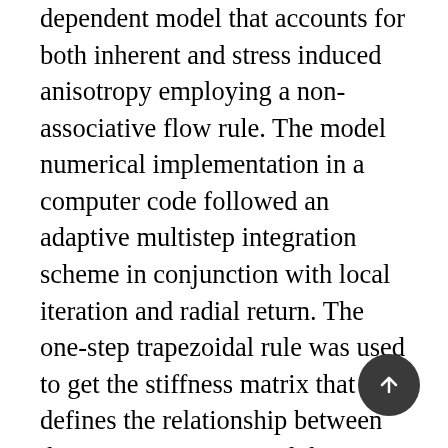dependent model that accounts for both inherent and stress induced anisotropy employing a non-associative flow rule. The model numerical implementation in a computer code followed an adaptive multistep integration scheme in conjunction with local iteration and radial return. The one-step trapezoidal rule was used to get the stiffness matrix that defines the relationship between the stress increment and the strain increment. After testing the model in simulating the response of cohesive soils through extensive comparisons of model simulations to experimental data, it has been shown to give quite good simulations. The new model successfully simulates the response of different cohesive soils; for example, Cardiff Kaolin, Spestone Kaolin, and Lower Cromer Till. The simulated undrained stress paths, stress-strain response, and excess pore pressures are in very good agreement with the experimental values, especially in extension.